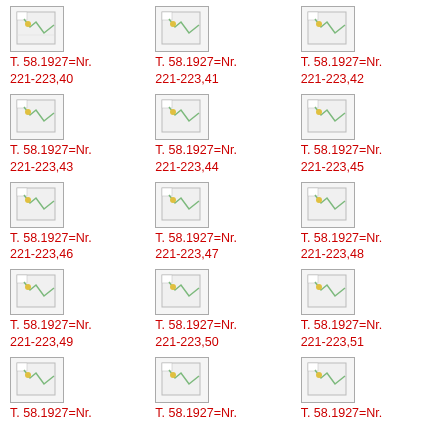[Figure (illustration): Placeholder image thumbnail (broken image icon)]
[Figure (illustration): Placeholder image thumbnail (broken image icon)]
[Figure (illustration): Placeholder image thumbnail (broken image icon)]
T. 58.1927=Nr. 221-223,40
T. 58.1927=Nr. 221-223,41
T. 58.1927=Nr. 221-223,42
[Figure (illustration): Placeholder image thumbnail (broken image icon)]
[Figure (illustration): Placeholder image thumbnail (broken image icon)]
[Figure (illustration): Placeholder image thumbnail (broken image icon)]
T. 58.1927=Nr. 221-223,43
T. 58.1927=Nr. 221-223,44
T. 58.1927=Nr. 221-223,45
[Figure (illustration): Placeholder image thumbnail (broken image icon)]
[Figure (illustration): Placeholder image thumbnail (broken image icon)]
[Figure (illustration): Placeholder image thumbnail (broken image icon)]
T. 58.1927=Nr. 221-223,46
T. 58.1927=Nr. 221-223,47
T. 58.1927=Nr. 221-223,48
[Figure (illustration): Placeholder image thumbnail (broken image icon)]
[Figure (illustration): Placeholder image thumbnail (broken image icon)]
[Figure (illustration): Placeholder image thumbnail (broken image icon)]
T. 58.1927=Nr. 221-223,49
T. 58.1927=Nr. 221-223,50
T. 58.1927=Nr. 221-223,51
[Figure (illustration): Placeholder image thumbnail (broken image icon)]
[Figure (illustration): Placeholder image thumbnail (broken image icon)]
[Figure (illustration): Placeholder image thumbnail (broken image icon)]
T. 58.1927=Nr.
T. 58.1927=Nr.
T. 58.1927=Nr.